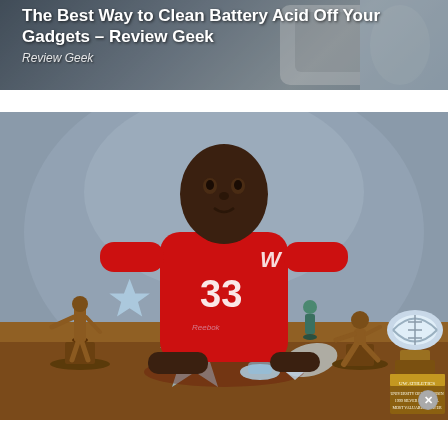[Figure (screenshot): Screenshot of a web article card showing title 'The Best Way to Clean Battery Acid Off Your Gadgets – Review Geek' with source 'Review Geek' overlaid on a blurred gadget background image]
[Figure (photo): Photo of a football player wearing a red University of Wisconsin Badgers jersey number 33, posing with multiple trophies and awards on a table in front of him, including bronze Heisman-style figurines, glass trophies, a football trophy, and a wooden plaque. Background is grey/blue studio backdrop.]